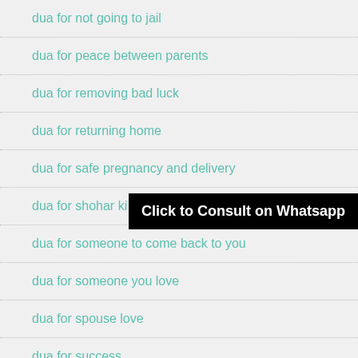dua for not going to jail
dua for peace between parents
dua for removing bad luck
dua for returning home
dua for safe pregnancy and delivery
dua for shohar ki mohabbat
dua for someone to come back to you
dua for someone you love
dua for spouse love
dua for success
Click to Consult on Whatsapp